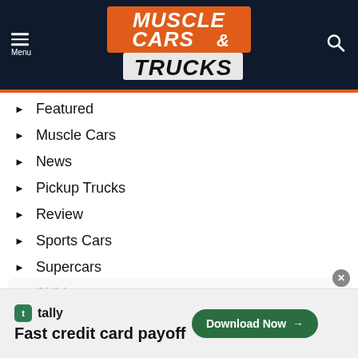[Figure (logo): Muscle Cars & Trucks logo with orange and white text on dark navy background]
Featured
Muscle Cars
News
Pickup Trucks
Review
Sports Cars
Supercars
SUV
Vans
Video
[Figure (infographic): Tally advertisement banner: Fast credit card payoff - Download Now button]